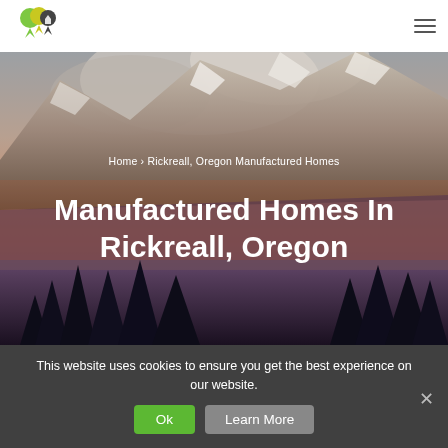[Figure (logo): Colorful map pin / location icon logo with green and yellow colors]
[Figure (photo): Mountain landscape hero image with snowy peaks, silhouetted pine trees, and a sunset sky in orange and blue tones]
Home › Rickreall, Oregon Manufactured Homes
Manufactured Homes In Rickreall, Oregon
This website uses cookies to ensure you get the best experience on our website.
Ok
Learn More